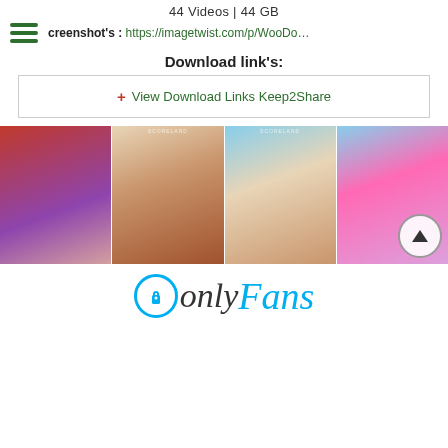44 Videos | 44 GB
creenshot's : https://imagetwist.com/p/WooDo…
Download link's:
+ View Download Links Keep2Share
[Figure (photo): Grid of four adult content thumbnail photos side by side]
[Figure (logo): OnlyFans logo with lock icon and brand name in black and cyan]